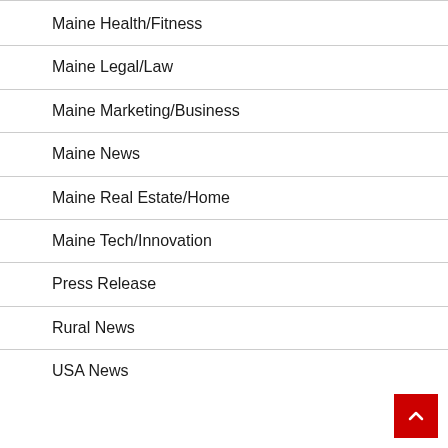Maine Health/Fitness
Maine Legal/Law
Maine Marketing/Business
Maine News
Maine Real Estate/Home
Maine Tech/Innovation
Press Release
Rural News
USA News